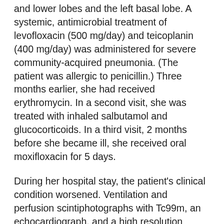and lower lobes and the left basal lobe. A systemic, antimicrobial treatment of levofloxacin (500 mg/day) and teicoplanin (400 mg/day) was administered for severe community-acquired pneumonia. (The patient was allergic to penicillin.) Three months earlier, she had received erythromycin. In a second visit, she was treated with inhaled salbutamol and glucocorticoids. In a third visit, 2 months before she became ill, she received oral moxifloxacin for 5 days.
During her hospital stay, the patient's clinical condition worsened. Ventilation and perfusion scintiphotographs with Tc99m, an echocardiograph, and a high resolution thoracic scan were performed in an effort to identify another illness or a possible nondrained focus; results were negative. After 7 hospital days of systemic levofloxacin therapy, her clinical condition had not improved. Two blood